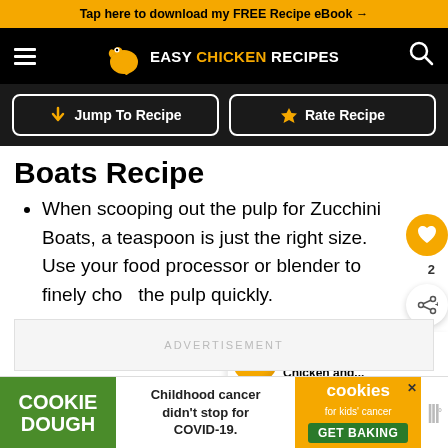Tap here to download my FREE Recipe eBook →
EASY CHICKEN RECIPES
Jump To Recipe | Rate Recipe
Boats Recipe
When scooping out the pulp for Zucchini Boats, a teaspoon is just the right size. Use your food processor or blender to finely chop the pulp quickly.
ADVERTISEMENT
WHAT'S NEXT → Crockpot Chicken and...
COOKIE DOUGH | Childhood cancer didn't stop for COVID-19. | cookies for kids' cancer GET BAKING